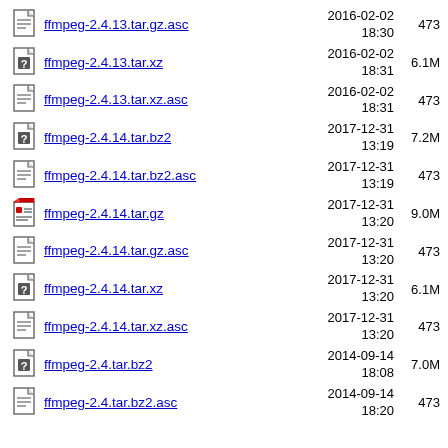ffmpeg-2.4.13.tar.gz.asc
ffmpeg-2.4.13.tar.xz
ffmpeg-2.4.13.tar.xz.asc
ffmpeg-2.4.14.tar.bz2
ffmpeg-2.4.14.tar.bz2.asc
ffmpeg-2.4.14.tar.gz
ffmpeg-2.4.14.tar.gz.asc
ffmpeg-2.4.14.tar.xz
ffmpeg-2.4.14.tar.xz.asc
ffmpeg-2.4.tar.bz2
ffmpeg-2.4.tar.bz2.asc